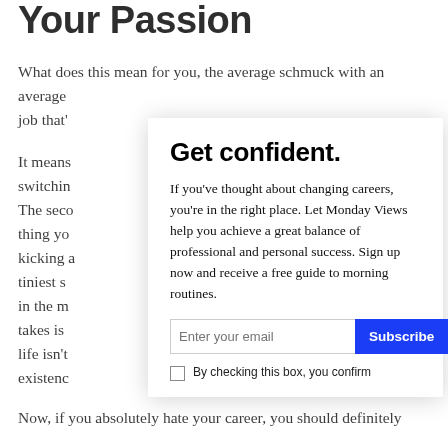Your Passion
What does this mean for you, the average schmuck with an average job that'
It means switching The second thing you kicking a tiniest s in the m takes is life isn't existenc
Now, if you absolutely hate your career, you should definitely
[Figure (screenshot): Modal popup with title 'Get confident.' and subscription form. Contains text: 'If you've thought about changing careers, you're in the right place. Let Monday Views help you achieve a great balance of professional and personal success. Sign up now and receive a free guide to morning routines.' An email input field and Subscribe button, plus a checkbox row with 'By checking this box, you confirm'. A close X button is visible in the top right of the modal.]